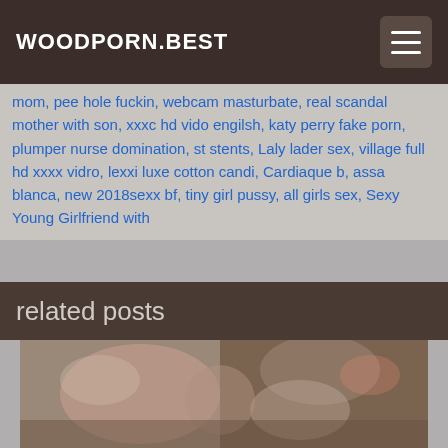WOODPORN.BEST
mom, pee hole fuckin, webcam masturbate, real scandal mother with son, xxxc hd vido engilsh, katy perry fake porn, plumper nurse domination, st stents, Laly lader sex, village full hd xxxx vidro, lexxi luxe cotton candi, Cardiaque b, assa blanca, new 2018sexx bf, tiny girl pussy, all girls sex, Sexy Young Girlfriend with
related posts
[Figure (photo): Thumbnail image for a related video post]